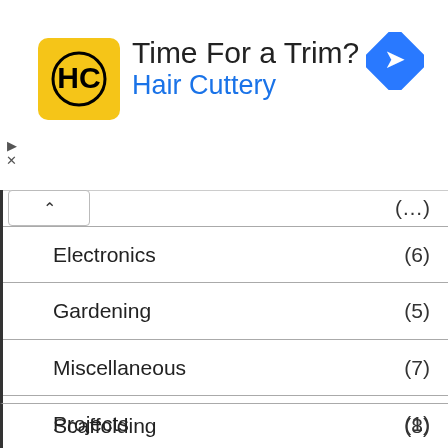[Figure (illustration): Hair Cuttery advertisement banner with yellow logo, 'Time For a Trim?' headline, 'Hair Cuttery' subtext in blue, and blue diamond navigation icon]
Electronics (6)
Gardening (5)
Miscellaneous (7)
Projects (1)
Quick Projects (9)
Raspberry Pi (3)
Privacy & Cookies: This site uses cookies. By continuing to use this website, you agree to their use.
To find out more, including how to control cookies, see here: Cookie Policy
Scaffolding (8)